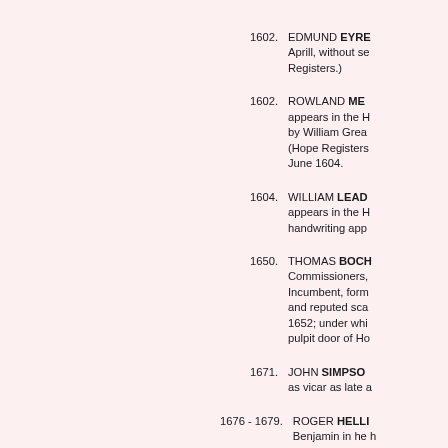1602. EDMUND EYRE — Aprill, without se Registers.)
1602. ROWLAND ME — appears in the H by William Grea (Hope Registers June 1604.
1604. WILLIAM LEAD — appears in the H handwriting app
1650. THOMAS BOCH — Commissioners, Incumbent, form and reputed sca 1652; under whi pulpit door of Ho
1671. JOHN SIMPSO — as vicar as late a
1676 - 1679. ROGER HELLI — Benjamin in he own burial at Ho